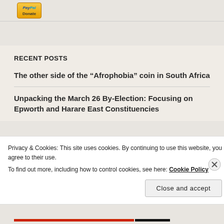[Figure (logo): PayPal Donate button with yellow gradient background]
RECENT POSTS
The other side of the “Afrophobia” coin in South Africa
Unpacking the March 26 By-Election: Focusing on Epworth and Harare East Constituencies
Privacy & Cookies: This site uses cookies. By continuing to use this website, you agree to their use.
To find out more, including how to control cookies, see here: Cookie Policy
Close and accept